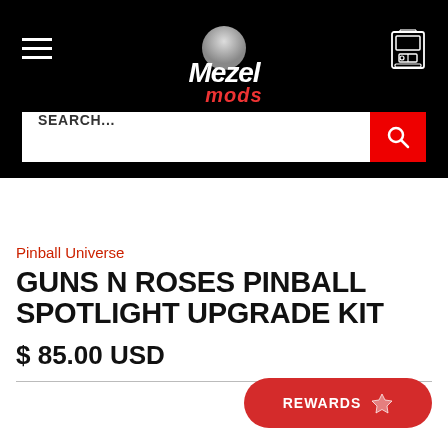Mezel Mods – navigation header with hamburger menu, logo, and cart icon
SEARCH...
Pinball Universe
GUNS N ROSES PINBALL SPOTLIGHT UPGRADE KIT
$ 85.00 USD
REWARDS